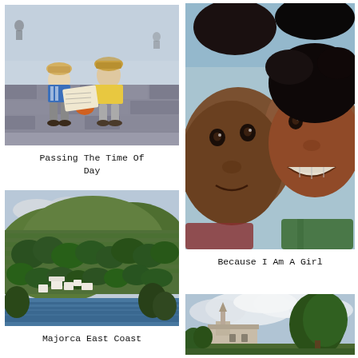[Figure (illustration): Watercolour painting of two people sitting on a stone wall, reading or looking at papers, with a coastal or seaside backdrop. One figure wears a blue and white shirt, the other a yellow top. Orange object between them.]
Passing The Time Of Day
[Figure (illustration): Watercolour portrait painting of two young African children, close-up, smiling and looking at the viewer. One child on the left, one on the right with a broad smile showing teeth.]
Because I Am A Girl
[Figure (illustration): Watercolour landscape painting of the Majorca East Coast showing green terraced hillside with white buildings, trees, and blue sea in the background.]
Majorca East Coast
[Figure (illustration): Watercolour painting of a countryside scene with a building or church, large green tree, and cloudy sky. Partial view, cut off at bottom of page.]